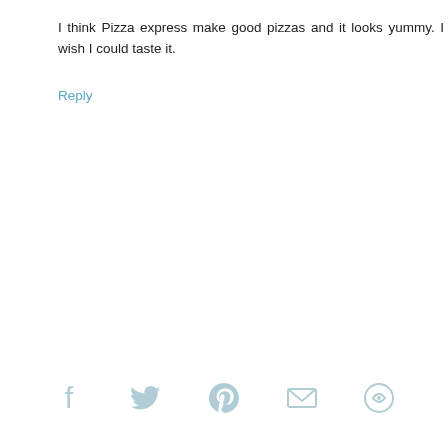I think Pizza express make good pizzas and it looks yummy. I wish I could taste it.
Reply
[Figure (other): Row of five social sharing icons (Facebook, Twitter, Pinterest, Email, and a share icon) in light blue-grey color at the bottom of the page.]